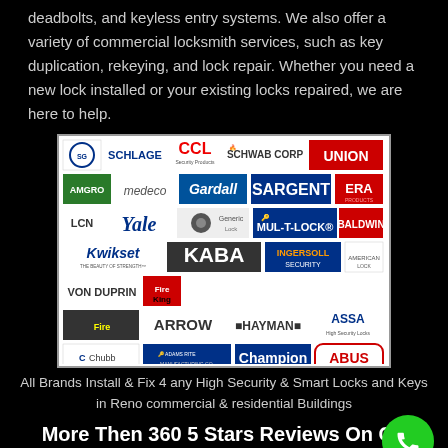deadbolts, and keyless entry systems. We also offer a variety of commercial locksmith services, such as key duplication, rekeying, and lock repair. Whether you need a new lock installed or your existing locks repaired, we are here to help.
[Figure (illustration): Grid of locksmith brand logos including Schlage, CCL, Schwab Corp, Union, Amgro, Medeco, Gardall, Sargent, ERA, LCN, Yale, Mul-T-Lock, Baldwin, Kwikset, Kaba, Ingersoll Security, American Lock, Von Duprin, FireKing, Arrow, Hayman, ASSA, Chubb, Adams Rite, Champion, ABUS]
All Brands Install & Fix 4 any High Security & Smart Locks and Keys in Reno commercial & residential Buildings
More Then 360 5 Stars Reviews On Go My Buissnes Click Here To Check